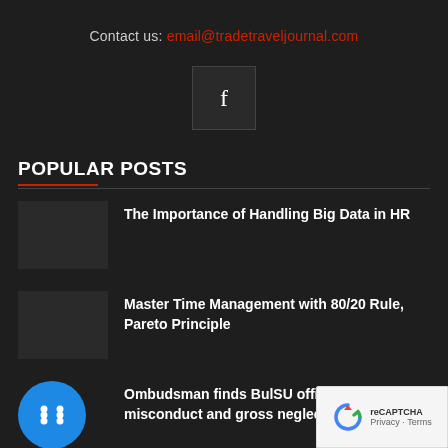Contact us: email@tradetraveljournal.com
[Figure (logo): Facebook icon button - dark square with white 'f' letter]
POPULAR POSTS
The Importance of Handling Big Data in HR
Master Time Management with 80/20 Rule, Pareto Principle
Ombudsman finds BulSU officials guilty misconduct and gross neglect...